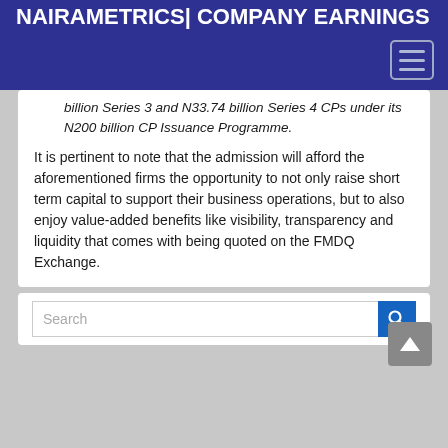NAIRAMETRICS| COMPANY EARNINGS
billion Series 3 and N33.74 billion Series 4 CPs under its N200 billion CP Issuance Programme.
It is pertinent to note that the admission will afford the aforementioned firms the opportunity to not only raise short term capital to support their business operations, but to also enjoy value-added benefits like visibility, transparency and liquidity that comes with being quoted on the FMDQ Exchange.